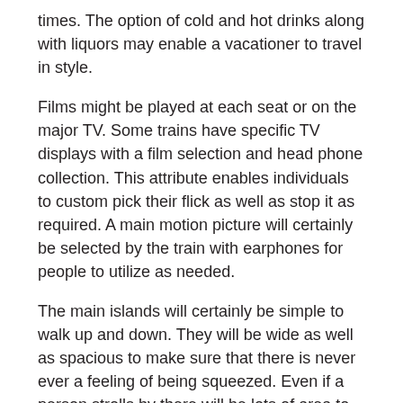times. The option of cold and hot drinks along with liquors may enable a vacationer to travel in style.
Films might be played at each seat or on the major TV. Some trains have specific TV displays with a film selection and head phone collection. This attribute enables individuals to custom pick their flick as well as stop it as required. A main motion picture will certainly be selected by the train with earphones for people to utilize as needed.
The main islands will certainly be simple to walk up and down. They will be wide as well as spacious to make sure that there is never ever a feeling of being squeezed. Even if a person strolls by there will be lots of area to move around. The washroom will certainly be nearby and include more than one system to ensure that there is never an align.